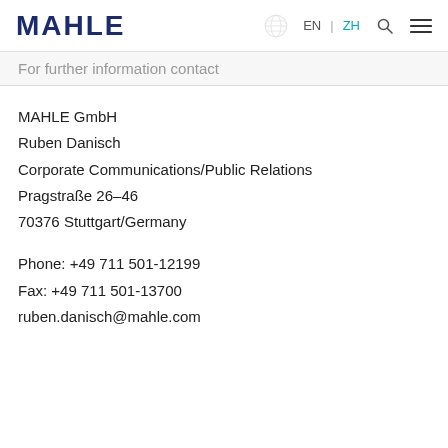MAHLE | EN | ZH
For further information contact
MAHLE GmbH
Ruben Danisch
Corporate Communications/Public Relations
Pragstraße 26–46
70376 Stuttgart/Germany
Phone: +49 711 501-12199
Fax: +49 711 501-13700
ruben.danisch@mahle.com